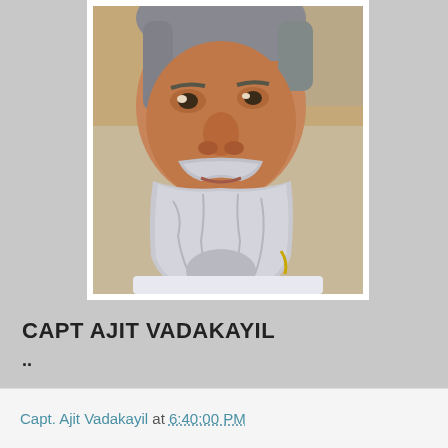[Figure (photo): Close-up portrait photo of a middle-aged man with gray and white beard and mustache, salt-and-pepper hair, looking upward. Photo has a white border/frame.]
CAPT AJIT VADAKAYIL
..
Capt. Ajit Vadakayil at 6:40:00 PM